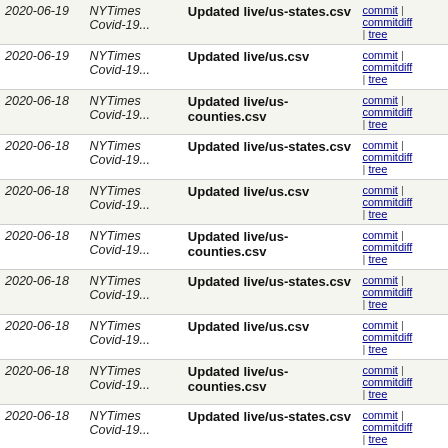| Date | Author | Message | Links |
| --- | --- | --- | --- |
| 2020-06-19 | NYTimes Covid-19... | Updated live/us-states.csv | commit | commitdiff | tree |
| 2020-06-19 | NYTimes Covid-19... | Updated live/us.csv | commit | commitdiff | tree |
| 2020-06-18 | NYTimes Covid-19... | Updated live/us-counties.csv | commit | commitdiff | tree |
| 2020-06-18 | NYTimes Covid-19... | Updated live/us-states.csv | commit | commitdiff | tree |
| 2020-06-18 | NYTimes Covid-19... | Updated live/us.csv | commit | commitdiff | tree |
| 2020-06-18 | NYTimes Covid-19... | Updated live/us-counties.csv | commit | commitdiff | tree |
| 2020-06-18 | NYTimes Covid-19... | Updated live/us-states.csv | commit | commitdiff | tree |
| 2020-06-18 | NYTimes Covid-19... | Updated live/us.csv | commit | commitdiff | tree |
| 2020-06-18 | NYTimes Covid-19... | Updated live/us-counties.csv | commit | commitdiff | tree |
| 2020-06-18 | NYTimes Covid-19... | Updated live/us-states.csv | commit | commitdiff | tree |
| 2020-06-18 | NYTimes Covid-19... | Updated live/us.csv | commit | commitdiff | tree |
| 2020-06-18 | NYTimes Covid-19... | Updated live/us-counties.csv | commit | commitdiff | tree |
| 2020-06-18 | NYTimes Covid-19... | Updated live/us-states.csv | commit | commitdiff | tree |